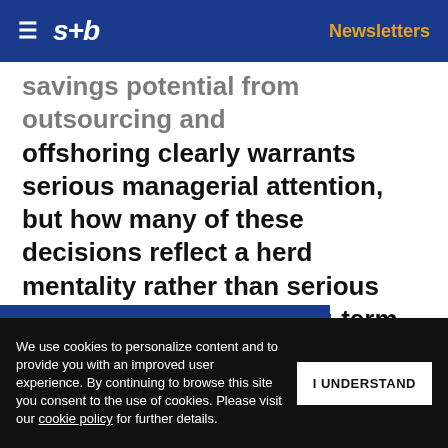s+b | Newsletters
savings potential from outsourcing and offshoring clearly warrants serious managerial attention, but how many of these decisions reflect a herd mentality rather than serious consideration of the long-term strategic implications? The worldwide market for offshored research and engineering services now tops $18 billion. Can the developed world … encies in … an businesses
Get s+b's award-winning newsletter delivered to your inbox.
We use cookies to personalize content and to provide you with an improved user experience. By continuing to browse this site you consent to the use of cookies. Please visit our cookie policy for further details.
I UNDERSTAND